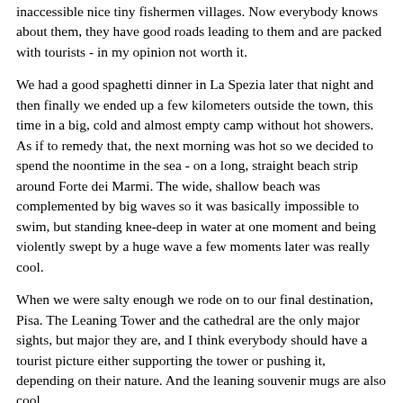inaccessible nice tiny fishermen villages. Now everybody knows about them, they have good roads leading to them and are packed with tourists - in my opinion not worth it.
We had a good spaghetti dinner in La Spezia later that night and then finally we ended up a few kilometers outside the town, this time in a big, cold and almost empty camp without hot showers. As if to remedy that, the next morning was hot so we decided to spend the noontime in the sea - on a long, straight beach strip around Forte dei Marmi. The wide, shallow beach was complemented by big waves so it was basically impossible to swim, but standing knee-deep in water at one moment and being violently swept by a huge wave a few moments later was really cool.
When we were salty enough we rode on to our final destination, Pisa. The Leaning Tower and the cathedral are the only major sights, but major they are, and I think everybody should have a tourist picture either supporting the tower or pushing it, depending on their nature. And the leaning souvenir mugs are also cool.
Before sunset, we left the city and rode some 50km to the next camp. This one was again in the mountains and it was, like, freezing. A hot tea with a healthy dose of slivovice (Czech plum brandy) helped us survive the night so we could continue the next morning on the final leg of the trip.